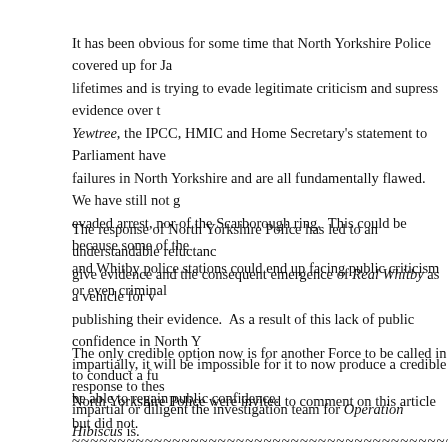It has been obvious for some time that North Yorkshire Police covered up for Ja- lifetimes and is trying to evade legitimate criticism and supress evidence over the Yewtree, the IPCC, HMIC and Home Secretary's statement to Parliament have failures in North Yorkshire and are all fundamentally flawed. We have still not g- evaded arrest, nor of the Scarborough ring. This could be because some of the and Whitby police stations could end up facing public criticism or even criminal
The response of North Yorkshire Police has led to an understandable reluctanc- give evidence and the consequent emergence of Real Whitby as a vehicle for v- publishing their evidence. As a result of this lack of public confidence in North Y- impartially, it will be impossible for it to now produce a credible response to thes- impartial or diligent the investigation team for Operation Hibiscus is.
The only credible option now is for another Force to be called in to conduct a fu- be able to regain public confidence.
North Yorkshire Police were invited to comment on this article but did not.
~~~~~~~~~~~~~~~~~~~~~~~~~~~~~~~~~~~~~~~~~~~~~~~~~~~~~~~~~~~~
More from the North Yorks Enquirer
[Figure (photo): Thumbnail image with text GRAHAM SCHOOL THANKS JACONELLI'S]
[Figure (photo): Dark thumbnail image]
[Figure (photo): North Yorks Enquirer logo with SEE NO SAVILE text]
[Figure (other): TOP button navigation element]